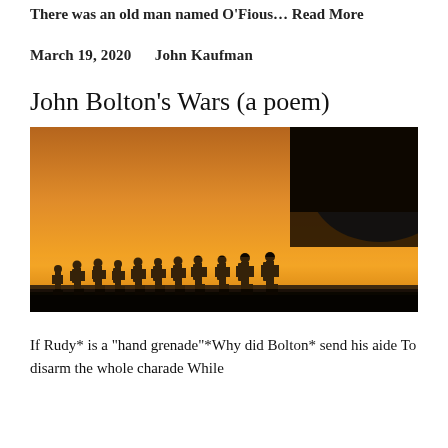There was an old man named O'Fious… Read More
March 19, 2020      John Kaufman
John Bolton's Wars (a poem)
[Figure (photo): Silhouettes of soldiers with backpacks and gear walking in a line toward a military aircraft, against a vivid orange/amber sunset sky.]
If Rudy* is a "hand grenade"*Why did Bolton* send his aide To disarm the whole charade While